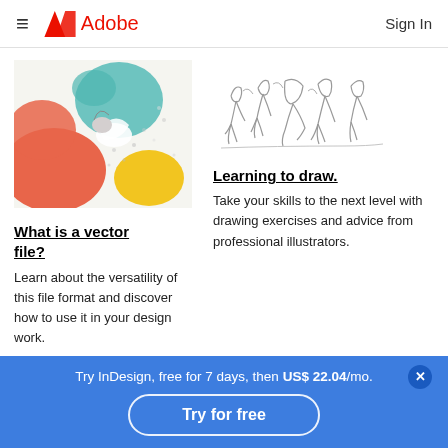Adobe — Sign In
[Figure (illustration): Colorful abstract illustration with organic shapes in orange, teal, yellow, and white, with a reclining figure]
[Figure (illustration): Sketched line-art drawing of human figures/dancers in black ink on white background]
What is a vector file?
Learn about the versatility of this file format and discover how to use it in your design work.
Learning to draw.
Take your skills to the next level with drawing exercises and advice from professional illustrators.
Try InDesign, free for 7 days, then US$ 22.04/mo.
Try for free